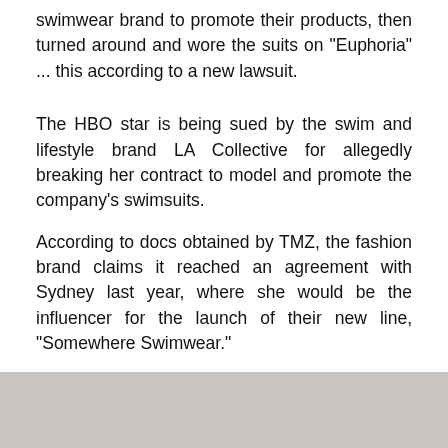swimwear brand to promote their products, then turned around and wore the suits on "Euphoria" ... this according to a new lawsuit.
The HBO star is being sued by the swim and lifestyle brand LA Collective for allegedly breaking her contract to model and promote the company's swimsuits.
According to docs obtained by TMZ, the fashion brand claims it reached an agreement with Sydney last year, where she would be the influencer for the launch of their new line, "Somewhere Swimwear."